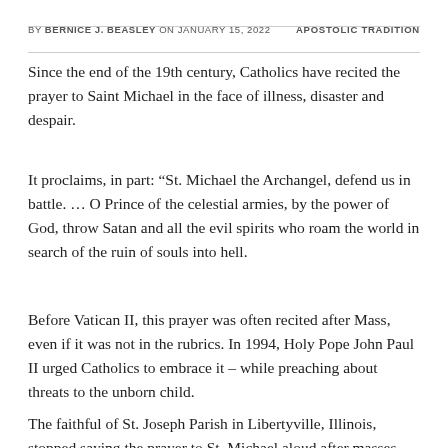BY BERNICE J. BEASLEY ON JANUARY 15, 2022   APOSTOLIC TRADITION
Since the end of the 19th century, Catholics have recited the prayer to Saint Michael in the face of illness, disaster and despair.
It proclaims, in part: “St. Michael the Archangel, defend us in battle. … O Prince of the celestial armies, by the power of God, throw Satan and all the evil spirits who roam the world in search of the ruin of souls into hell.
Before Vatican II, this prayer was often recited after Mass, even if it was not in the rubrics. In 1994, Holy Pope John Paul II urged Catholics to embrace it – while preaching about threats to the unborn child.
The faithful of St. Joseph Parish in Libertyville, Illinois, stopped saying the prayer to St. Michael aloud after masses last summer.